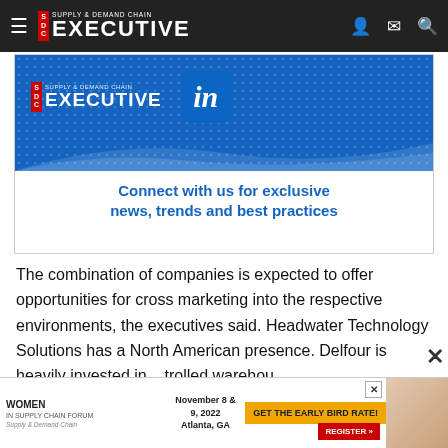Supply & Demand Chain Executive
[Figure (illustration): Supply & Demand Chain Executive LinkedIn promotional banner with blue background, dot pattern, SDC Executive logo, LinkedIn icon, and text 'Connect with us for exclusive news, trends and best practices']
The combination of companies is expected to offer opportunities for cross marketing into the respective environments, the executives said. Headwater Technology Solutions has a North American presence. Delfour is heavily invested in... controlled warehousing...
[Figure (illustration): Women in Supply Chain Forum advertisement banner: November 8 & 9, 2022, Atlanta, GA. GET THE EARLY BIRD RATE! REGISTER button.]